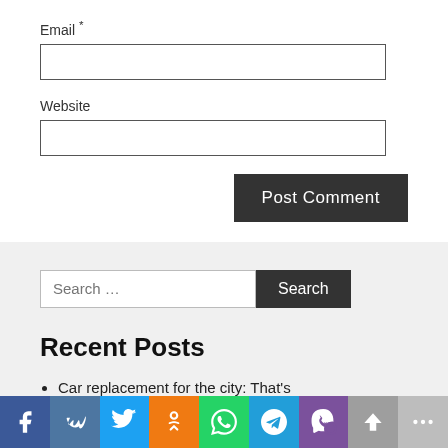Email *
Website
Post Comment
Search ...
Recent Posts
Car replacement for the city: That's ...